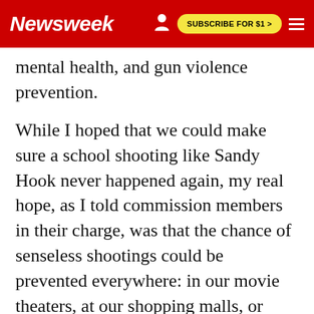Newsweek  SUBSCRIBE FOR $1 >
mental health, and gun violence prevention.
While I hoped that we could make sure a school shooting like Sandy Hook never happened again, my real hope, as I told commission members in their charge, was that the chance of senseless shootings could be prevented everywhere: in our movie theaters, at our shopping malls, or even on the street corners in any of our cities, where street crime, including using guns that were purchased through loopholes in existing law, have